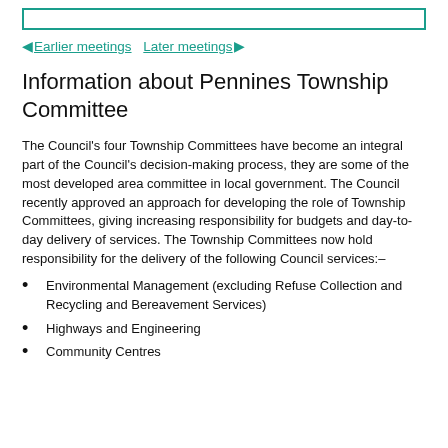◄ Earlier meetings  Later meetings ►
Information about Pennines Township Committee
The Council's four Township Committees have become an integral part of the Council's decision-making process, they are some of the most developed area committee in local government. The Council recently approved an approach for developing the role of Township Committees, giving increasing responsibility for budgets and day-to-day delivery of services. The Township Committees now hold responsibility for the delivery of the following Council services:–
Environmental Management (excluding Refuse Collection and Recycling and Bereavement Services)
Highways and Engineering
Community Centres